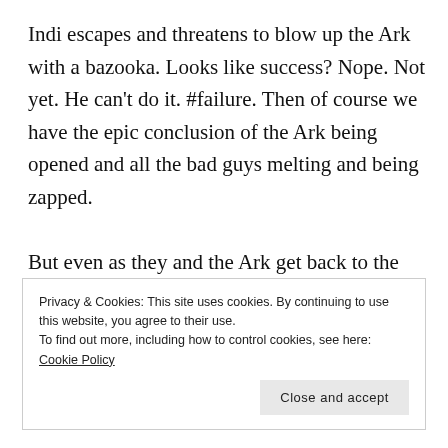Indi escapes and threatens to blow up the Ark with a bazooka. Looks like success? Nope. Not yet. He can't do it. #failure. Then of course we have the epic conclusion of the Ark being opened and all the bad guys melting and being zapped.
But even as they and the Ark get back to the states, there remains a sense of foreboding. Now
Privacy & Cookies: This site uses cookies. By continuing to use this website, you agree to their use.
To find out more, including how to control cookies, see here: Cookie Policy
Close and accept